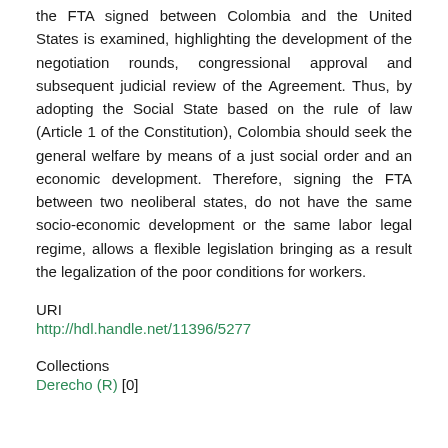the FTA signed between Colombia and the United States is examined, highlighting the development of the negotiation rounds, congressional approval and subsequent judicial review of the Agreement. Thus, by adopting the Social State based on the rule of law (Article 1 of the Constitution), Colombia should seek the general welfare by means of a just social order and an economic development. Therefore, signing the FTA between two neoliberal states, do not have the same socio-economic development or the same labor legal regime, allows a flexible legislation bringing as a result the legalization of the poor conditions for workers.
URI
http://hdl.handle.net/11396/5277
Collections
Derecho (R) [0]
Related items